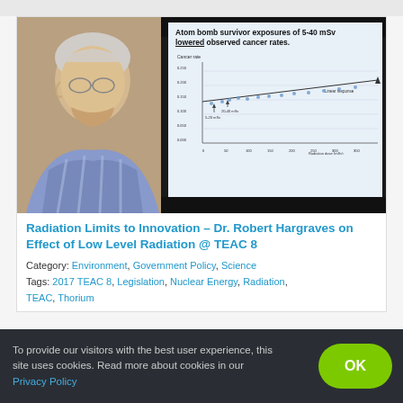[Figure (photo): Video thumbnail showing a man speaking on left and a presentation slide on right. The slide reads 'Atom bomb survivor exposures of 5-40 mSv lowered observed cancer rates.' with a scatter/line chart showing Cancer rate vs Radiation dose (mSv), annotations for 5-20 mSv, 20-40 mSv, and a Linear response line.]
Radiation Limits to Innovation – Dr. Robert Hargraves on Effect of Low Level Radiation @ TEAC 8
Category: Environment, Government Policy, Science
Tags: 2017 TEAC 8, Legislation, Nuclear Energy, Radiation, TEAC, Thorium
To provide our visitors with the best user experience, this site uses cookies. Read more about cookies in our Privacy Policy